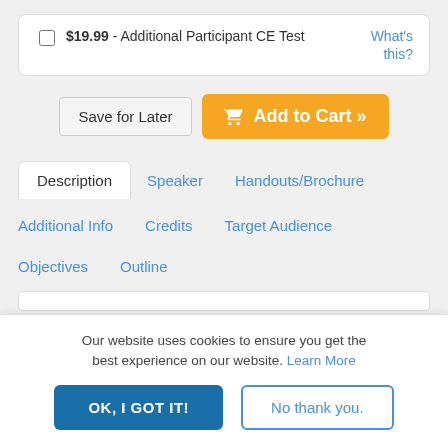$19.99 - Additional Participant CE Test | What's this?
Save for Later | Add to Cart »
Description | Speaker | Handouts/Brochure | Additional Info | Credits | Target Audience | Objectives | Outline
Our website uses cookies to ensure you get the best experience on our website. Learn More
OK, I GOT IT! | No thank you.